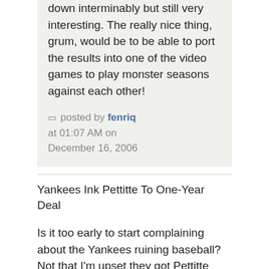down interminably but still very interesting. The really nice thing, grum, would be to be able to port the results into one of the video games to play monster seasons against each other!
posted by fenriq at 01:07 AM on December 16, 2006
Yankees Ink Pettitte To One-Year Deal
Is it too early to start complaining about the Yankees ruining baseball? Not that I'm upset they got Pettitte back, I love cheering against that